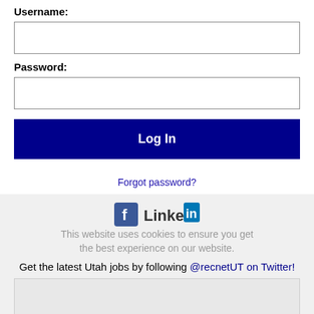Username:
Password:
Log In
Forgot password?
This website uses cookies to ensure you get the best experience on our website.
Get the latest Utah jobs by following @recnetUT on Twitter!
West Jordan RSS job feeds